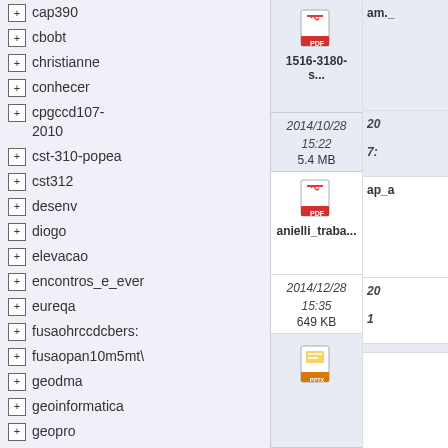+ cap390
+ cbobt
+ christianne
+ conhecer
+ cpgccd107-2010
+ cst-310-popea
+ cst312
+ desenv
+ diogo
+ elevacao
+ encontros_e_ever
+ eureqa
+ fusaohrccdcbers:
+ fusaopan10m5mt\
+ geodma
+ geoinformatica
+ geopro
+ group_modelling
+ henrique
[Figure (screenshot): File browser showing folder tree on left and file details (PDF icons, filenames, dates, sizes) on right. Filename 1516-3180-s..., date 2014/10/28 15:22, size 5.4 MB. Filename anielli_traba..., date 2014/12/28 15:35, size 649 KB. Third item shows PPTX icon.]